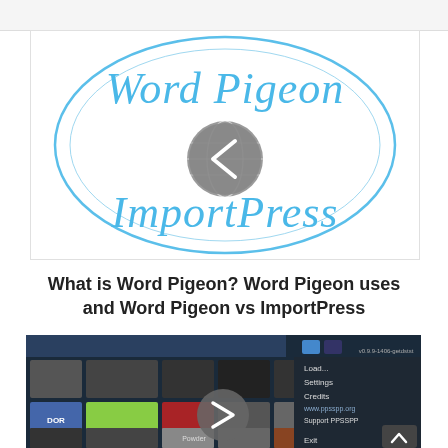[Figure (logo): Word Pigeon and ImportPress logo — circular logo with blue handwritten-style text 'Word Pigeon' on top and 'ImportPress' on bottom, with a globe icon and a left-arrow navigation button in the center]
What is Word Pigeon? Word Pigeon uses and Word Pigeon vs ImportPress
[Figure (screenshot): Screenshot of PPSSPP emulator application showing a game library grid with various game icons including Flappy Bird, Desert Strike, DOOM and others, plus a right-side menu with options: Load, Settings, Credits, www.ppsspp.org, Support PPSSPP, Exit. A right-arrow navigation button overlays the center.]